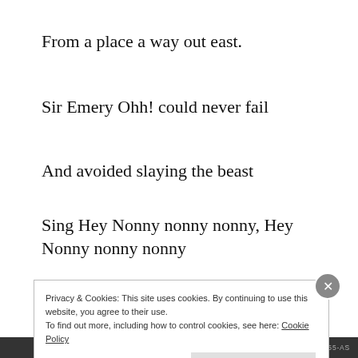From a place a way out east.
Sir Emery Ohh! could never fail
And avoided slaying the beast
Sing Hey Nonny nonny nonny, Hey Nonny nonny nonny
Hey Nonny nonny nonny no.
Privacy & Cookies: This site uses cookies. By continuing to use this website, you agree to their use.
To find out more, including how to control cookies, see here: Cookie Policy
AIRPORT-1155-AS